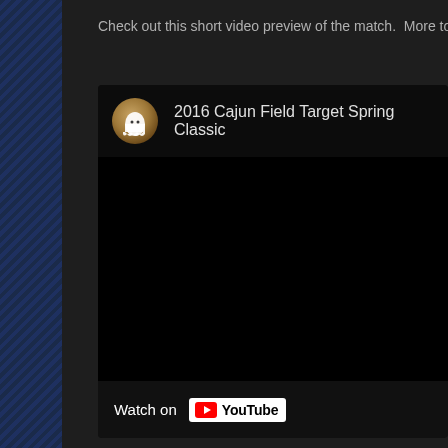Check out this short video preview of the match.  More to come in
[Figure (screenshot): Embedded YouTube video player showing '2016 Cajun Field Target Spring Classic'. The video thumbnail area is black. Below the video is a 'Watch on YouTube' button with the YouTube logo. A ghost-themed channel avatar is shown in the video header.]